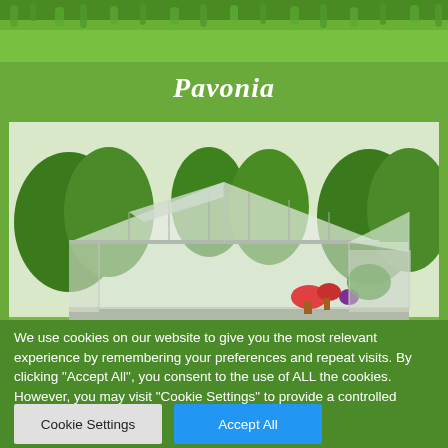[Figure (photo): Green grass lawn background at the top of the page]
Pavonia
[Figure (photo): A polycarbonate greenhouse with aluminum frame, open roof vents, potted flowers inside, set in a garden with green trees in background]
We use cookies on our website to give you the most relevant experience by remembering your preferences and repeat visits. By clicking “Accept All”, you consent to the use of ALL the cookies. However, you may visit "Cookie Settings" to provide a controlled consent.
Cookie Settings
Accept All